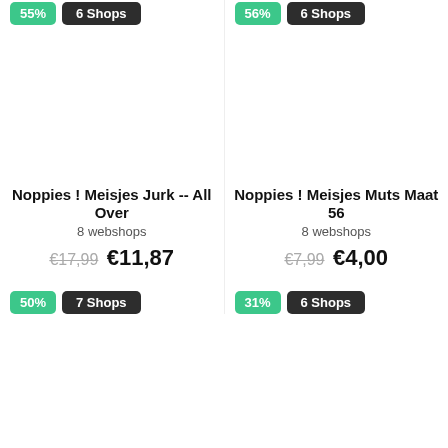55% | 6 Shops
56% | 6 Shops
Noppies ! Meisjes Jurk -- All Over
8 webshops
€17,99  €11,87
Noppies ! Meisjes Muts Maat 56
8 webshops
€7,99  €4,00
50% | 7 Shops
31% | 6 Shops